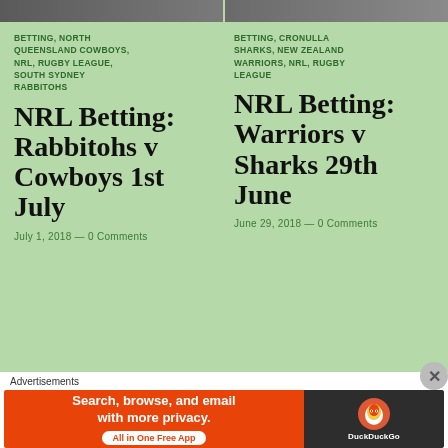[Figure (photo): Top partial image strip, left side — sports/NRL related photo]
[Figure (photo): Top partial image strip, right side — sports/NRL related photo]
BETTING, NORTH QUEENSLAND COWBOYS, NRL, RUGBY LEAGUE, SOUTH SYDNEY RABBITOHS
NRL Betting: Rabbitohs v Cowboys 1st July
July 1, 2018 — 0 Comments
BETTING, CRONULLA SHARKS, NEW ZEALAND WARRIORS, NRL, RUGBY LEAGUE
NRL Betting: Warriors v Sharks 29th June
June 29, 2018 — 0 Comments
[Figure (photo): Bottom partial image strip, left side — NRL match photo]
[Figure (photo): Bottom partial image strip, right side — NRL match photo]
Advertisements
[Figure (screenshot): DuckDuckGo advertisement banner: Search, browse, and email with more privacy. All in One Free App]